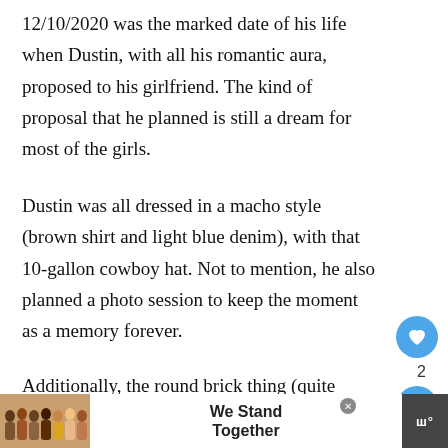12/10/2020 was the marked date of his life when Dustin, with all his romantic aura, proposed to his girlfriend. The kind of proposal that he planned is still a dream for most of the girls.
Dustin was all dressed in a macho style (brown shirt and light blue denim), with that 10-gallon cowboy hat. Not to mention, he also planned a photo session to keep the moment as a memory forever.
Additionally, the round brick thing (quite unclear in the picture) that had MARRY ME was something re...
[Figure (infographic): Advertisement bar at the bottom showing people standing together with text 'We Stand Together' and a media logo on the right]